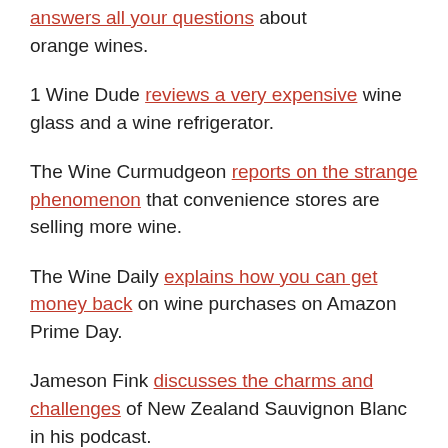Holly Magister answers all your questions about orange wines.
1 Wine Dude reviews a very expensive wine glass and a wine refrigerator.
The Wine Curmudgeon reports on the strange phenomenon that convenience stores are selling more wine.
The Wine Daily explains how you can get money back on wine purchases on Amazon Prime Day.
Jameson Fink discusses the charms and challenges of New Zealand Sauvignon Blanc in his podcast.
Jameson Fink...